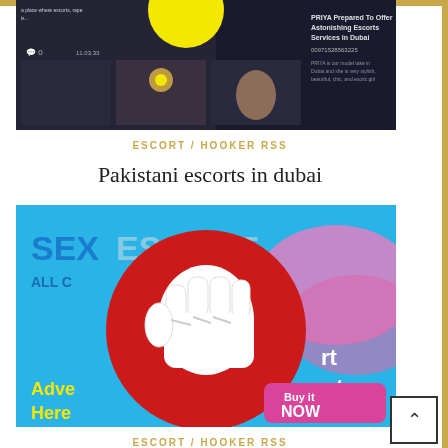[Figure (screenshot): Screenshot of a website showing escort listings with a dark background, text about PRIYA offering escort services in Dubai with phone number 00971528563225, and thumbnail images]
ESCORT / HOOKER RSS
Pakistani escorts in dubai
[Figure (illustration): Advertisement banner for SEX ESCORT with blue background showing 'ALL C...' text, a large red circle with white cartoon fist/thumbs down icon, yellow text 'Advertise Here' and a pink button 'Buy it NOW']
ESCORT / HOOKER RSS